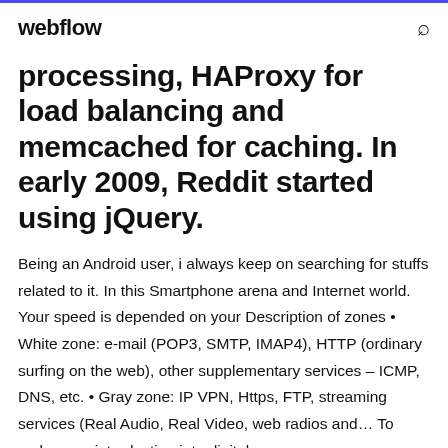webflow
processing, HAProxy for load balancing and memcached for caching. In early 2009, Reddit started using jQuery.
Being an Android user, i always keep on searching for stuffs related to it. In this Smartphone arena and Internet world. Your speed is depended on your Description of zones • White zone: e-mail (POP3, SMTP, IMAP4), HTTP (ordinary surfing on the web), other supplementary services – ICMP, DNS, etc. • Gray zone: IP VPN, Https, FTP, streaming services (Real Audio, Real Video, web radios and… To make your introduction into digital